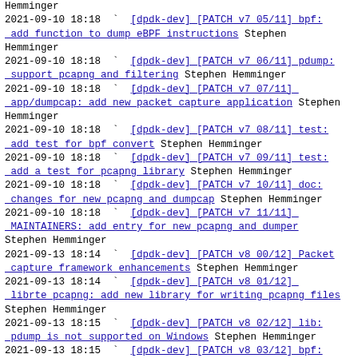Hemminger
2021-09-10 18:18 ` [dpdk-dev] [PATCH v7 05/11] bpf: add function to dump eBPF instructions Stephen Hemminger
2021-09-10 18:18 ` [dpdk-dev] [PATCH v7 06/11] pdump: support pcapng and filtering Stephen Hemminger
2021-09-10 18:18 ` [dpdk-dev] [PATCH v7 07/11] app/dumpcap: add new packet capture application Stephen Hemminger
2021-09-10 18:18 ` [dpdk-dev] [PATCH v7 08/11] test: add test for bpf convert Stephen Hemminger
2021-09-10 18:18 ` [dpdk-dev] [PATCH v7 09/11] test: add a test for pcapng library Stephen Hemminger
2021-09-10 18:18 ` [dpdk-dev] [PATCH v7 10/11] doc: changes for new pcapng and dumpcap Stephen Hemminger
2021-09-10 18:18 ` [dpdk-dev] [PATCH v7 11/11] MAINTAINERS: add entry for new pcapng and dumper Stephen Hemminger
2021-09-13 18:14 ` [dpdk-dev] [PATCH v8 00/12] Packet capture framework enhancements Stephen Hemminger
2021-09-13 18:14 ` [dpdk-dev] [PATCH v8 01/12] librte pcapng: add new library for writing pcapng files Stephen Hemminger
2021-09-13 18:15 ` [dpdk-dev] [PATCH v8 02/12] lib: pdump is not supported on Windows Stephen Hemminger
2021-09-13 18:15 ` [dpdk-dev] [PATCH v8 03/12] bpf: allow self-xor operation Stephen Hemminger
2021-09-15 10:55 ` Ananyev, Konstantin
2021-09-13 18:15 ` [dpdk-dev] [PATCH v8 04/12] bpf: add function to convert classic BPF to DPDK BPF Stephen Hemminger